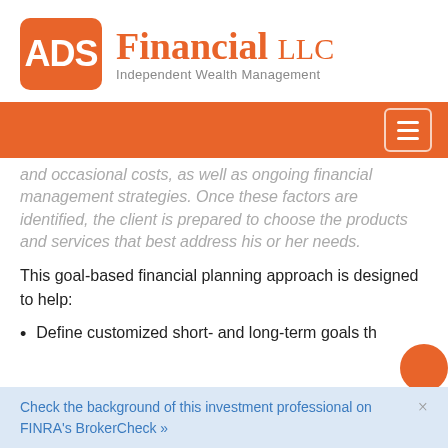[Figure (logo): ADS Financial LLC logo with orange rounded square containing white 'ADS' text, followed by 'Financial LLC' in orange serif font and 'Independent Wealth Management' subtitle in gray]
and occasional costs, as well as ongoing financial management strategies. Once these factors are identified, the client is prepared to choose the products and services that best address his or her needs.
This goal-based financial planning approach is designed to help:
Define customized short- and long-term goals th…
Check the background of this investment professional on FINRA's BrokerCheck »